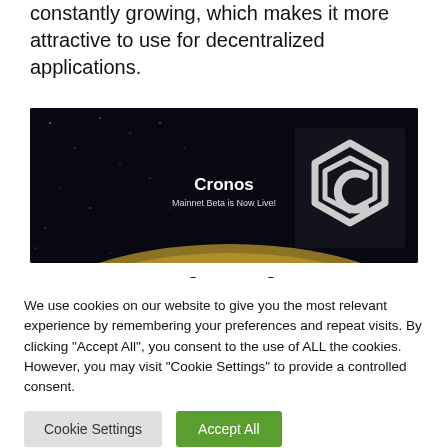constantly growing, which makes it more attractive to use for decentralized applications.
[Figure (photo): Cronos blockchain banner image showing a dark space background with a planet ring and a hexagonal logo. Text reads 'Cronos' and 'Mainnet Beta is Now Live!']
Consent (PoA)
We use cookies on our website to give you the most relevant experience by remembering your preferences and repeat visits. By clicking “Accept All”, you consent to the use of ALL the cookies. However, you may visit "Cookie Settings" to provide a controlled consent.